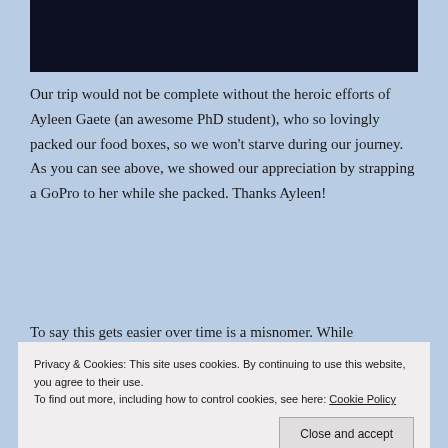[Figure (photo): Dark navy/black rectangular image at the top of the page, likely a photo taken with a GoPro camera.]
Our trip would not be complete without the heroic efforts of Ayleen Gaete (an awesome PhD student), who so lovingly packed our food boxes, so we won't starve during our journey. As you can see above, we showed our appreciation by strapping a GoPro to her while she packed. Thanks Ayleen!
To say this gets easier over time is a misnomer. While
Privacy & Cookies: This site uses cookies. By continuing to use this website, you agree to their use.
To find out more, including how to control cookies, see here: Cookie Policy
Close and accept